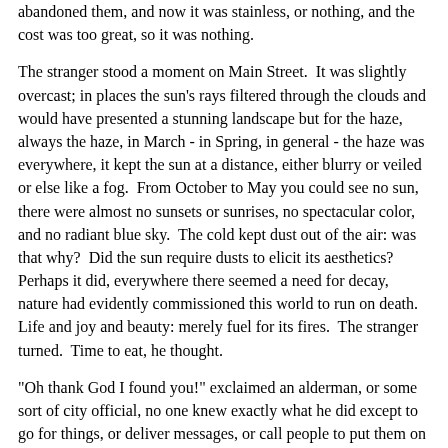abandoned them, and now it was stainless, or nothing, and the cost was too great, so it was nothing.
The stranger stood a moment on Main Street.  It was slightly overcast; in places the sun's rays filtered through the clouds and would have presented a stunning landscape but for the haze, always the haze, in March - in Spring, in general - the haze was everywhere, it kept the sun at a distance, either blurry or veiled or else like a fog.  From October to May you could see no sun, there were almost no sunsets or sunrises, no spectacular color, and no radiant blue sky.  The cold kept dust out of the air: was that why?  Did the sun require dusts to elicit its aesthetics?  Perhaps it did, everywhere there seemed a need for decay, nature had evidently commissioned this world to run on death.  Life and joy and beauty: merely fuel for its fires.  The stranger turned.  Time to eat, he thought.
"Oh thank God I found you!" exclaimed an alderman, or some sort of city official, no one knew exactly what he did except to go for things, or deliver messages, or call people to put them on hold while someone waited to speak to them.  He was elected though, not appointed; the slot on the ballot read "Extra," referring to his being extraneous to the actual needs of city government, although, his services, whatever they were, being deemed a requirement, his position was kept open, his name kept on the ballot.  His name was Rondo Lisp, he had been named, so he insisted, for a famous